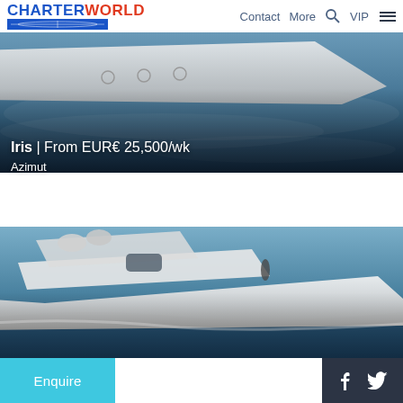CHARTERWORLD  Contact  More  VIP
[Figure (photo): Aerial/side view of white luxury motor yacht Iris cutting through blue ocean water]
Iris | From EUR€ 25,500/wk
Azimut
[Figure (photo): Side view of white luxury Azimut motor yacht underway on open sea with person visible on deck]
Enquire
f  Twitter bird icon